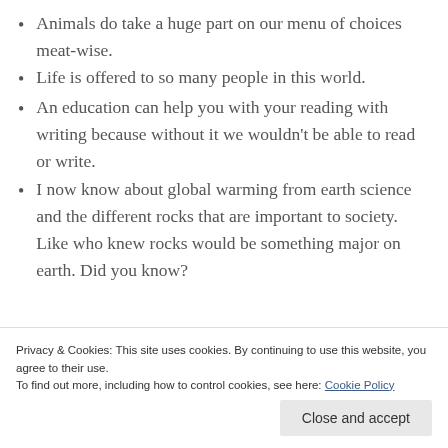Animals do take a huge part on our menu of choices meat-wise.
Life is offered to so many people in this world.
An education can help you with your reading with writing because without it we wouldn't be able to read or write.
I now know about global warming from earth science and the different rocks that are important to society. Like who knew rocks would be something major on earth. Did you know?
Privacy & Cookies: This site uses cookies. By continuing to use this website, you agree to their use. To find out more, including how to control cookies, see here: Cookie Policy